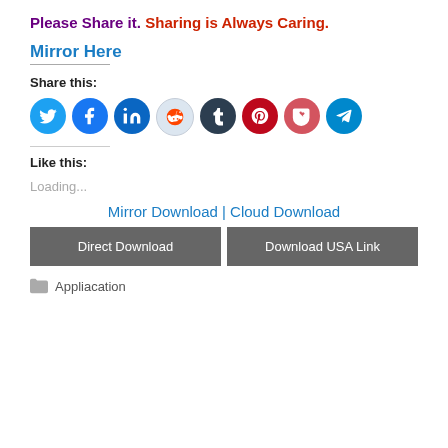Please Share it. Sharing is Always Caring.
Mirror Here
Share this:
[Figure (other): Row of 8 social media share icons: Twitter, Facebook, LinkedIn, Reddit, Tumblr, Pinterest, Pocket, Telegram]
Like this:
Loading...
Mirror Download | Cloud Download
Direct Download
Download USA Link
Appliacation